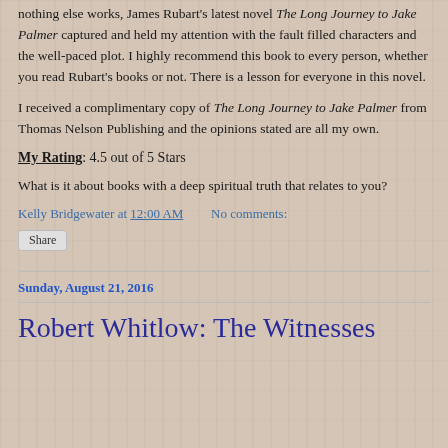nothing else works, James Rubart's latest novel The Long Journey to Jake Palmer captured and held my attention with the fault filled characters and the well-paced plot. I highly recommend this book to every person, whether you read Rubart's books or not. There is a lesson for everyone in this novel.
I received a complimentary copy of The Long Journey to Jake Palmer from Thomas Nelson Publishing and the opinions stated are all my own.
My Rating: 4.5 out of 5 Stars
What is it about books with a deep spiritual truth that relates to you?
Kelly Bridgewater at 12:00 AM   No comments:
Share
Sunday, August 21, 2016
Robert Whitlow: The Witnesses